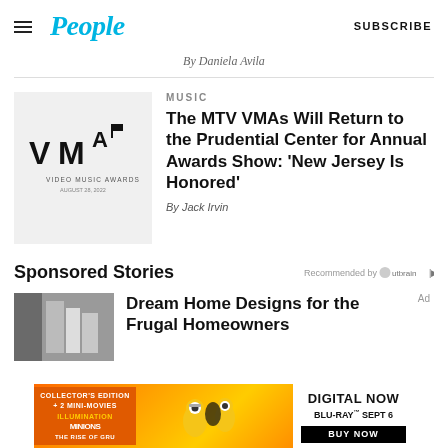People | SUBSCRIBE
By Daniela Avila
MUSIC
The MTV VMAs Will Return to the Prudential Center for Annual Awards Show: 'New Jersey Is Honored'
By Jack Irvin
Sponsored Stories
Recommended by Outbrain
Dream Home Designs for the Frugal Homeowners
[Figure (photo): Kitchen interior photo for sponsored story]
[Figure (photo): MTV VMAs Video Music Awards logo on grey background]
[Figure (photo): Minions: The Rise of Gru advertisement banner - Collector's Edition + 2 Mini-Movies, Digital Now, Blu-Ray Sept 6, Buy Now]